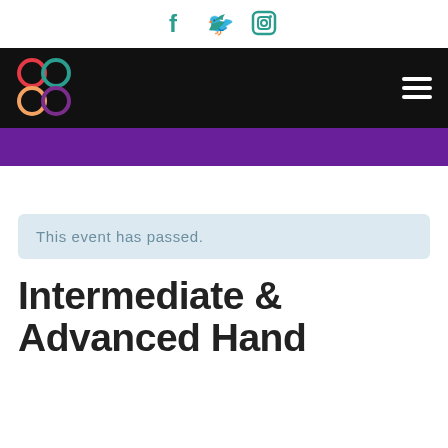Social media icons: Facebook, Twitter, Instagram
[Figure (logo): Organization logo with four colored circles (red, teal, orange, purple) arranged in a 2x2 grid on a black navigation bar, with hamburger menu icon on the right]
This event has passed.
Intermediate & Advanced Hand